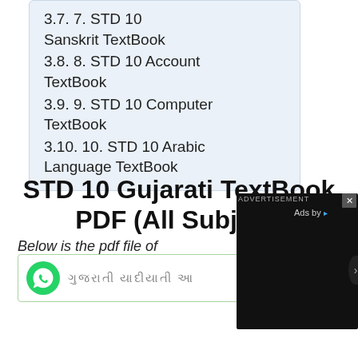3.7. 7. STD 10 Sanskrit TextBook
3.8. 8. STD 10 Account TextBook
3.9. 9. STD 10 Computer TextBook
3.10. 10. STD 10 Arabic Language TextBook
STD 10 Gujarati TextBook PDF (All Subject)
Below is the pdf file of
[Figure (other): WhatsApp contact bar with Gujarati text]
[Figure (other): Advertisement overlay with dark background, Ads by label, close button, loading spinner circle, and right arrow]